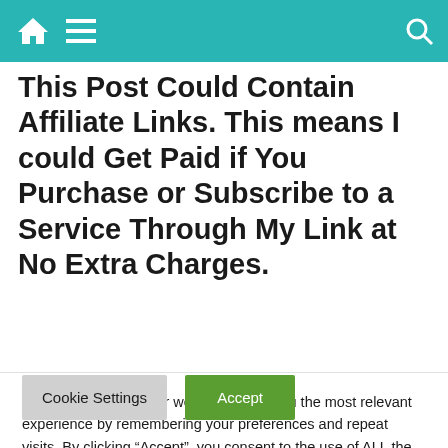Navigation bar with home, menu, and search icons
This Post Could Contain Affiliate Links. This means I could Get Paid if You Purchase or Subscribe to a Service Through My Link at No Extra Charges.
Recruitment For
We use cookies on our website to give you the most relevant experience by remembering your preferences and repeat visits. By clicking “Accept”, you consent to the use of ALL the cookies.
Reject.
Cookie Settings   Accept